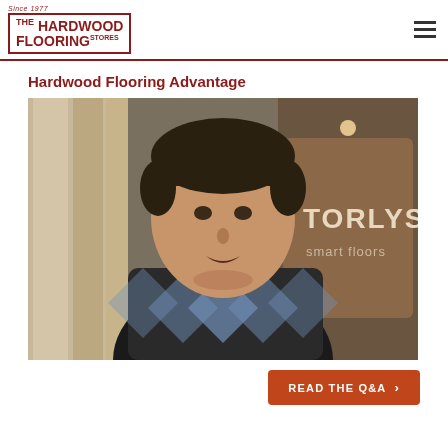The Hardwood Flooring Stores — Since 1977
Hardwood Flooring Advantage
[Figure (photo): A man in a black and grey argyle sweater speaking inside a flooring showroom. Behind him are hardwood flooring samples on the wall and a Torlys Smart Floors display counter.]
READ THE Q&A >